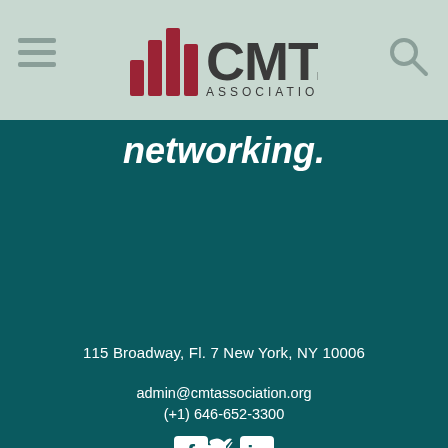[Figure (logo): CMT Association logo with red bar chart icon and CMT. text in dark gray, ASSOCIATION below]
networking.
115 Broadway, Fl. 7 New York, NY 10006
admin@cmtassociation.org
(+1) 646-652-3300
[Figure (other): Social media icons: Facebook, Twitter, LinkedIn in white on teal background]
© 2022 CMT Association    Web Design by C
[Figure (other): Back to top arrow chevron button]